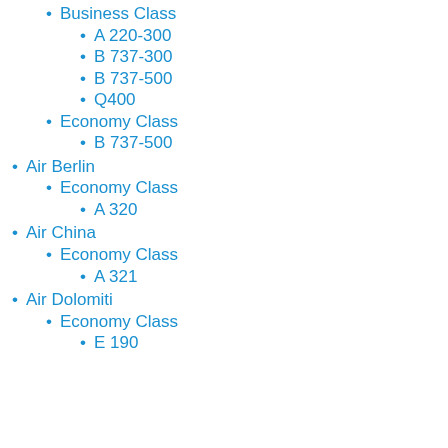Business Class
A 220-300
B 737-300
B 737-500
Q400
Economy Class
B 737-500
Air Berlin
Economy Class
A 320
Air China
Economy Class
A 321
Air Dolomiti
Economy Class
E 190